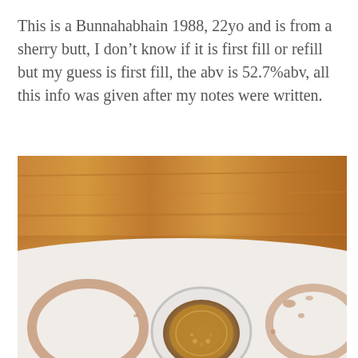This is a Bunnahabhain 1988, 22yo and is from a sherry butt, I don’t know if it is first fill or refill but my guess is first fill, the abv is 52.7%abv, all this info was given after my notes were written.
[Figure (photo): Photo showing a whisky glass with amber liquid seen from above, placed on a white surface with whisky stains/rings around it, and a wooden table surface (warm brown wood grain) visible in the upper portion of the image.]